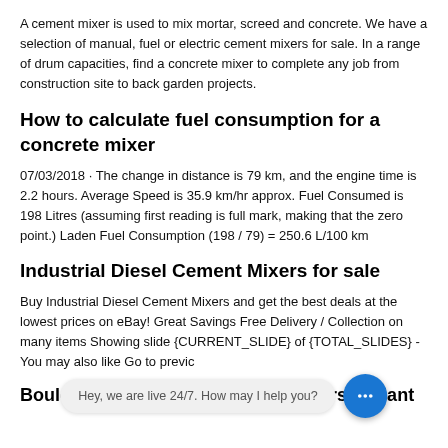A cement mixer is used to mix mortar, screed and concrete. We have a selection of manual, fuel or electric cement mixers for sale. In a range of drum capacities, find a concrete mixer to complete any job from construction site to back garden projects.
How to calculate fuel consumption for a concrete mixer
07/03/2018 · The change in distance is 79 km, and the engine time is 2.2 hours. Average Speed is 35.9 km/hr approx. Fuel Consumed is 198 Litres (assuming first reading is full mark, making that the zero point.) Laden Fuel Consumption (198 / 79) = 250.6 L/100 km
Industrial Diesel Cement Mixers for sale
Buy Industrial Diesel Cement Mixers and get the best deals at the lowest prices on eBay! Great Savings Free Delivery / Collection on many items Showing slide {CURRENT_SLIDE} of {TOTAL_SLIDES} - You may also like Go to previc...
Boulevard Fibreglass Garden Planters & Plant